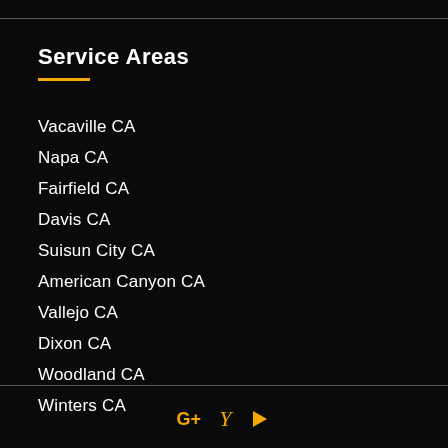Service Areas
Vacaville CA
Napa CA
Fairfield CA
Davis CA
Suisun City CA
American Canyon CA
Vallejo CA
Dixon CA
Woodland CA
Winters CA
G+ Y ▷